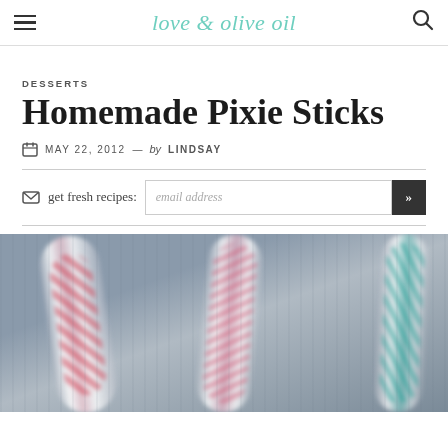love & olive oil
DESSERTS
Homemade Pixie Sticks
MAY 22, 2012 — by LINDSAY
get fresh recipes: email address
[Figure (photo): Close-up blurry photo of homemade pixie sticks — colorful paper straws with floral patterns (pink/red and teal) against a gray background]